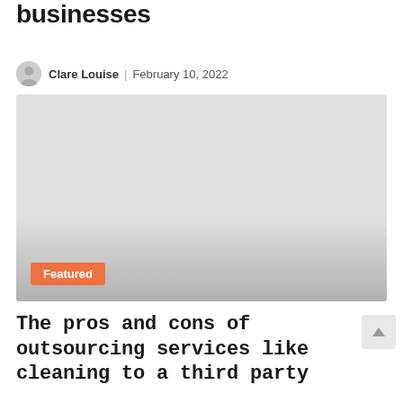businesses
Clare Louise | February 10, 2022
[Figure (photo): Featured image placeholder with light gray background and gradient, labeled 'Featured' with an orange badge in the lower left]
The pros and cons of outsourcing services like cleaning to a third party